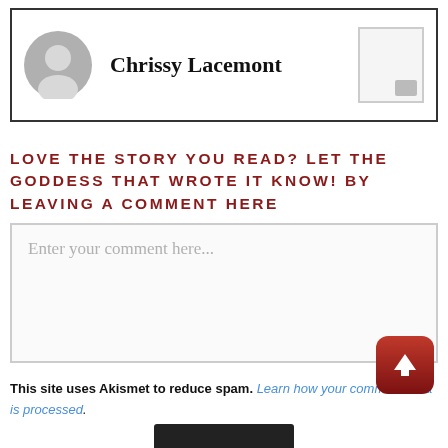[Figure (other): Profile card with avatar circle, author name 'Chrissy Lacemont' in cursive, and a small image placeholder box]
LOVE THE STORY YOU READ? LET THE GODDESS THAT WROTE IT KNOW! BY LEAVING A COMMENT HERE
Enter your comment here...
This site uses Akismet to reduce spam. Learn how your comment data is processed.